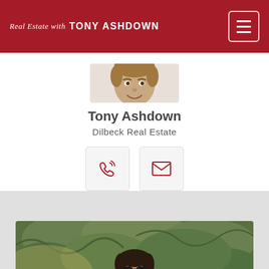Real Estate with TONY ASHDOWN
[Figure (photo): Headshot of Tony Ashdown, a middle-aged man in a dark suit with a tie, smiling]
Tony Ashdown
Dilbeck Real Estate
[Figure (infographic): Two contact buttons: a phone icon and an email/envelope icon]
[Figure (photo): Partial photo of a person (woman with sunglasses and short dark hair) outdoors in front of green foliage]